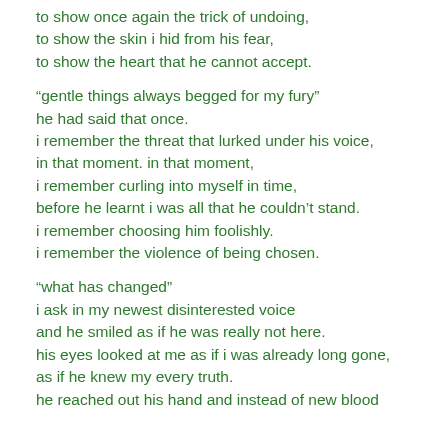to show once again the trick of undoing,
to show the skin i hid from his fear,
to show the heart that he cannot accept.

“gentle things always begged for my fury”
he had said that once.
i remember the threat that lurked under his voice,
in that moment. in that moment,
i remember curling into myself in time,
before he learnt i was all that he couldn’t stand.
i remember choosing him foolishly.
i remember the violence of being chosen.

“what has changed”
i ask in my newest disinterested voice
and he smiled as if he was really not here.
his eyes looked at me as if i was already long gone,
as if he knew my every truth.
he reached out his hand and instead of new blood